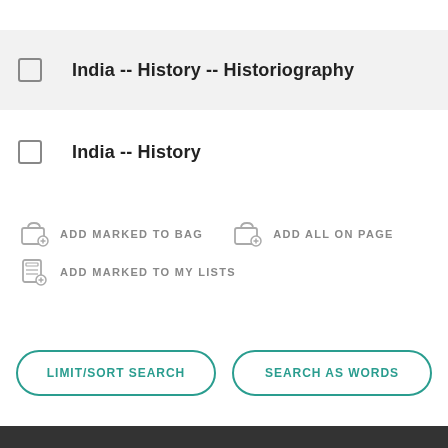India -- History -- Historiography
India -- History
ADD MARKED TO BAG
ADD ALL ON PAGE
ADD MARKED TO MY LISTS
LIMIT/SORT SEARCH
SEARCH AS WORDS